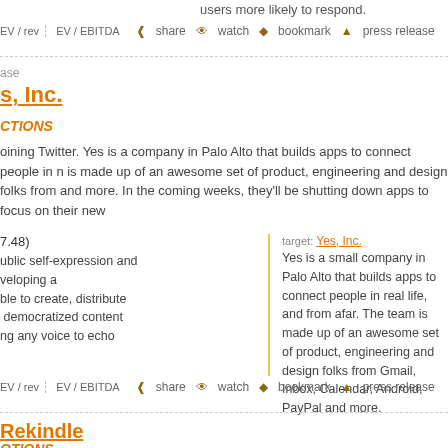users more likely to respond.
EV / rev  EV / EBITDA  share  watch  bookmark  press release
ase
s, Inc.
CTIONS
oining Twitter. Yes is a company in Palo Alto that builds apps to connect people in n is made up of an awesome set of product, engineering and design folks from and more. In the coming weeks, they'll be shutting down apps to focus on their new
7.48)
ublic self-expression and veloping a ble to create, distribute democratized content ng any voice to echo
target: Yes, Inc.
Yes is a small company in Palo Alto that builds apps to connect people in real life, and from afar. The team is made up of an awesome set of product, engineering and design folks from Gmail, Inbox, Calendar, Android, PayPal and more.
EV / rev  EV / EBITDA  share  watch  bookmark  press release
Rekindle
OTIONS